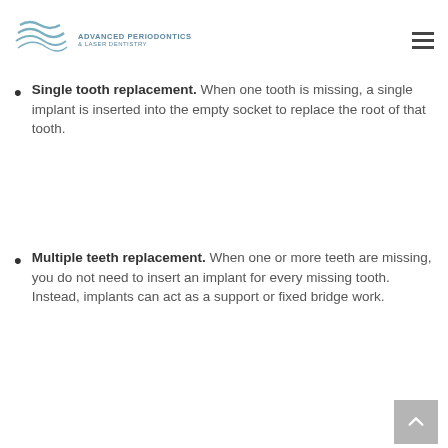Advanced Periodontics & Laser Dentistry
Single tooth replacement. When one tooth is missing, a single implant is inserted into the empty socket to replace the root of that tooth.
Multiple teeth replacement. When one or more teeth are missing, you do not need to insert an implant for every missing tooth. Instead, implants can act as a support or fixed bridge work.